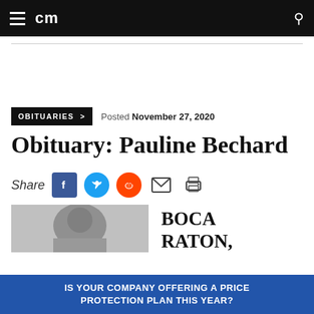cm
OBITUARIES >
Posted November 27, 2020
Obituary: Pauline Bechard
Share
[Figure (photo): Black and white photo of Pauline Bechard, partially visible]
BOCA RATON,
IS YOUR COMPANY OFFERING A PRICE PROTECTION PLAN THIS YEAR?